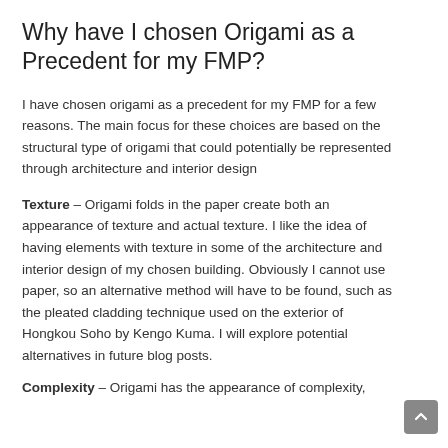Why have I chosen Origami as a Precedent for my FMP?
I have chosen origami as a precedent for my FMP for a few reasons. The main focus for these choices are based on the structural type of origami that could potentially be represented through architecture and interior design
Texture – Origami folds in the paper create both an appearance of texture and actual texture. I like the idea of having elements with texture in some of the architecture and interior design of my chosen building. Obviously I cannot use paper, so an alternative method will have to be found, such as the pleated cladding technique used on the exterior of Hongkou Soho by Kengo Kuma. I will explore potential alternatives in future blog posts.
Complexity – Origami has the appearance of complexity,